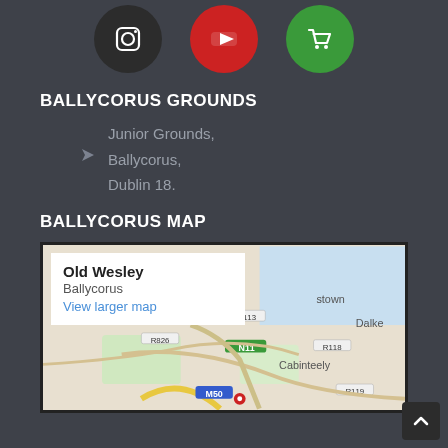[Figure (infographic): Row of social media icon circles: Instagram (dark/black), YouTube (red), shopping cart (green)]
BALLYCORUS GROUNDS
Junior Grounds,
Ballycorus,
Dublin 18.
BALLYCORUS MAP
[Figure (map): Google map showing Ballycorus area near Dublin 18 with roads R826, R113, N11, R118, R119, M50, areas including Dalkey, Cabinteely, stown. Popup shows Old Wesley / Ballycorus / View larger map.]